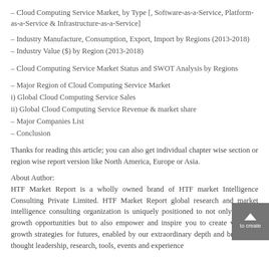– Cloud Computing Service Market, by Type [, Software-as-a-Service, Platform-as-a-Service & Infrastructure-as-a-Service]
– Industry Manufacture, Consumption, Export, Import by Regions (2013-2018)
– Industry Value ($) by Region (2013-2018)
– Cloud Computing Service Market Status and SWOT Analysis by Regions
– Major Region of Cloud Computing Service Market
i) Global Cloud Computing Service Sales
ii) Global Cloud Computing Service Revenue & market share
– Major Companies List
– Conclusion
Thanks for reading this article; you can also get individual chapter wise section or region wise report version like North America, Europe or Asia.
About Author:
HTF Market Report is a wholly owned brand of HTF market Intelligence Consulting Private Limited. HTF Market Report global research and market intelligence consulting organization is uniquely positioned to not only identify growth opportunities but to also empower and inspire you to create visionary growth strategies for futures, enabled by our extraordinary depth and breadth of thought leadership, research, tools, events and experience